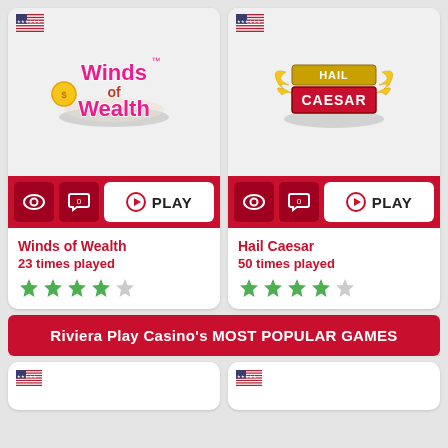[Figure (screenshot): Game card for 'Winds of Wealth' slot game with logo, play button, eye icon, comment icon, title, play count, and star rating]
[Figure (screenshot): Game card for 'Hail Caesar' slot game with logo, play button, eye icon, comment icon, title, play count, and star rating]
Winds of Wealth
23 times played
Hail Caesar
50 times played
Riviera Play Casino's MOST POPULAR GAMES
[Figure (screenshot): Partial bottom card with US flag icon (left)]
[Figure (screenshot): Partial bottom card with US flag icon (right)]